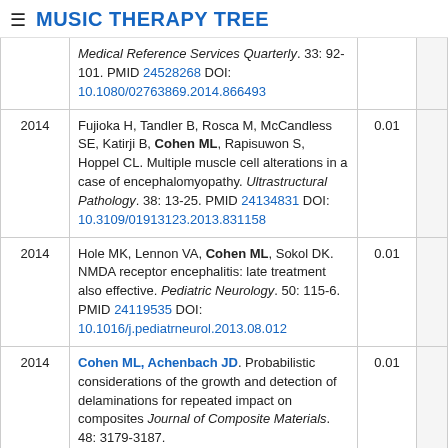≡ MUSIC THERAPY TREE
| Year | Reference | Score |  |
| --- | --- | --- | --- |
|  | Medical Reference Services Quarterly. 33: 92-101. PMID 24528268 DOI: 10.1080/02763869.2014.866493 |  |  |
| 2014 | Fujioka H, Tandler B, Rosca M, McCandless SE, Katirji B, Cohen ML, Rapisuwon S, Hoppel CL. Multiple muscle cell alterations in a case of encephalomyopathy. Ultrastructural Pathology. 38: 13-25. PMID 24134831 DOI: 10.3109/01913123.2013.831158 | 0.01 |  |
| 2014 | Hole MK, Lennon VA, Cohen ML, Sokol DK. NMDA receptor encephalitis: late treatment also effective. Pediatric Neurology. 50: 115-6. PMID 24119535 DOI: 10.1016/j.pediatrneurol.2013.08.012 | 0.01 |  |
| 2014 | Cohen ML, Achenbach JD. Probabilistic considerations of the growth and detection of delaminations for repeated impact on composites Journal of Composite Materials. 48: 3179-3187. | 0.01 |  |